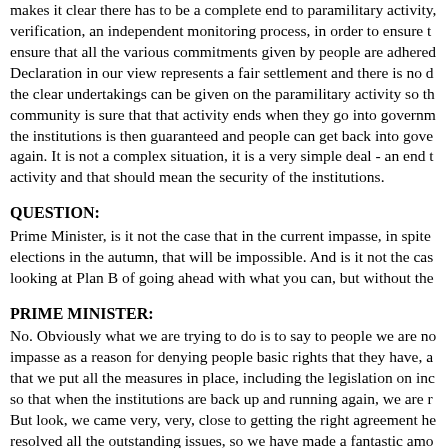makes it clear there has to be a complete end to paramilitary activity, verification, an independent monitoring process, in order to ensure that all the various commitments given by people are adhered to. Declaration in our view represents a fair settlement and there is no doubt the clear undertakings can be given on the paramilitary activity so that the community is sure that that activity ends when they go into government, the institutions is then guaranteed and people can get back into government again. It is not a complex situation, it is a very simple deal - an end to activity and that should mean the security of the institutions.
QUESTION:
Prime Minister, is it not the case that in the current impasse, in spite of elections in the autumn, that will be impossible. And is it not the case you are looking at Plan B of going ahead with what you can, but without the...
PRIME MINISTER:
No. Obviously what we are trying to do is to say to people we are not using the impasse as a reason for denying people basic rights that they have, and to ensure that we put all the measures in place, including the legislation on independence, so that when the institutions are back up and running again, we are ready to go. But look, we came very, very, close to getting the right agreement here. We have resolved all the outstanding issues, so we have made a fantastic amount of progress. In the end it depends on the will of the parties - do they really want to make this work or not? And the only basis that can happen is the complete end to paramilitary, circumstances where one of the political parties wants to be in government...